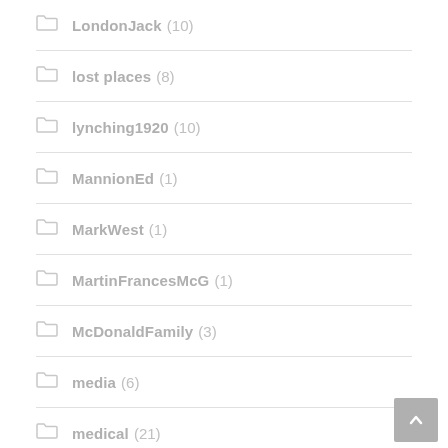LondonJack (10)
lost places (8)
lynching1920 (10)
MannionEd (1)
MarkWest (1)
MartinFrancesMcG (1)
McDonaldFamily (3)
media (6)
medical (21)
Moke (6)
morals (11)